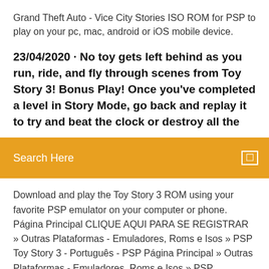Grand Theft Auto - Vice City Stories ISO ROM for PSP to play on your pc, mac, android or iOS mobile device.
23/04/2020 · No toy gets left behind as you run, ride, and fly through scenes from Toy Story 3! Bonus Play! Once you've completed a level in Story Mode, go back and replay it to try and beat the clock or destroy all the
Search Here
Download and play the Toy Story 3 ROM using your favorite PSP emulator on your computer or phone. Página Principal CLIQUE AQUI PARA SE REGISTRAR » Outras Plataformas - Emuladores, Roms e Isos » PSP Toy Story 3 - Português - PSP Página Principal » Outras Plataformas - Emuladores, Roms e Isos » PSP CoolROM.com's game information and ROM (ISO) download page for Toy Story 3 (Sony Playstation 2). Em Toy Story 3 os jogadores terão a oportunidade de explorar algumas das situações e cenas dos filmes, mas ao invés de tentar